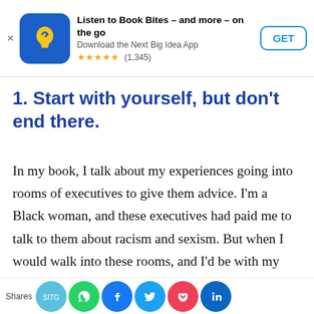[Figure (screenshot): App store advertisement banner for 'Next Big Idea' app. Blue rounded square icon with yellow lightbulb/arrow logo. Text: 'Listen to Book Bites – and more – on the go', 'Download the Next Big Idea App', 5-star rating (1,345). GET button.]
1. Start with yourself, but don't end there.
In my book, I talk about my experiences going into rooms of executives to give them advice. I'm a Black woman, and these executives had paid me to talk to them about racism and sexism. But when I would walk into these rooms, and I'd be with my Black male colleague and my white female colleague, sometimes the cu…wo…sk…qu…ns…st…
Shares [social share icons: SitG, WhatsApp, Facebook, Twitter, Pocket, LinkedIn]